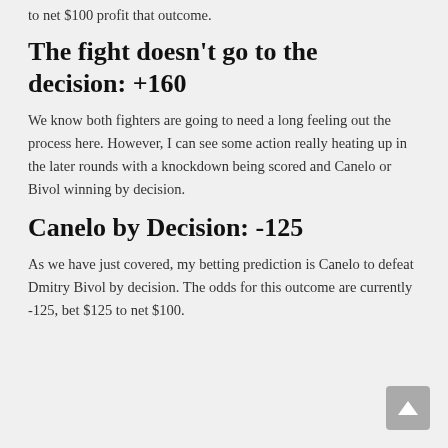to net $100 profit that outcome.
The fight doesn't go to the decision: +160
We know both fighters are going to need a long feeling out the process here. However, I can see some action really heating up in the later rounds with a knockdown being scored and Canelo or Bivol winning by decision.
Canelo by Decision: -125
As we have just covered, my betting prediction is Canelo to defeat Dmitry Bivol by decision. The odds for this outcome are currently -125, bet $125 to net $100.